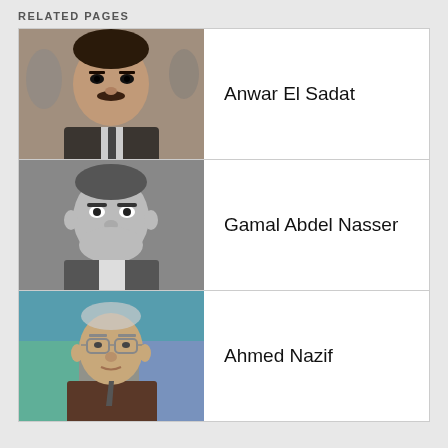RELATED PAGES
| Image | Name |
| --- | --- |
| [photo] | Anwar El Sadat |
| [photo] | Gamal Abdel Nasser |
| [photo] | Ahmed Nazif |
Wikipedia
Gbogbo ohun inú ibí yìí wà lábẹ́ CC BY-SA 3.0 àyàfi tí a bá sọ pé kò rí bẹẹ.
Àdéhùn ìmúlò • Ètò àbò • Ojú ẹrọ orí tábili